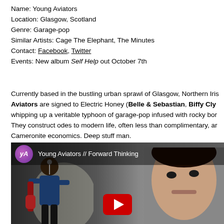Name: Young Aviators
Location: Glasgow, Scotland
Genre: Garage-pop
Similar Artists: Cage The Elephant, The Minutes
Contact: Facebook, Twitter
Events: New album Self Help out October 7th
Currently based in the bustling urban sprawl of Glasgow, Northern Iris... Aviators are signed to Electric Honey (Belle & Sebastian, Biffy Cly... whipping up a veritable typhoon of garage-pop infused with rocky bor... They construct odes to modern life, often less than complimentary, ar... Cameronite economics. Deep stuff man.
[Figure (screenshot): YouTube video thumbnail showing Young Aviators // Forward Thinking with two musicians visible and a YouTube play button overlay]